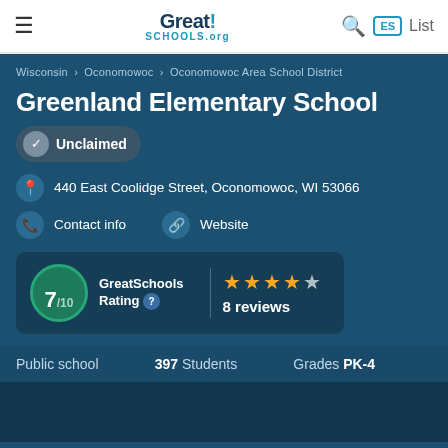GreatSchools.org
Wisconsin › Oconomowoc › Oconomowoc Area School District
Greenland Elementary School
Unclaimed
440 East Coolidge Street, Oconomowoc, WI 53066
Contact info
Website
GreatSchools Rating 7/10
8 reviews
Public school   397 Students   Grades PK-4